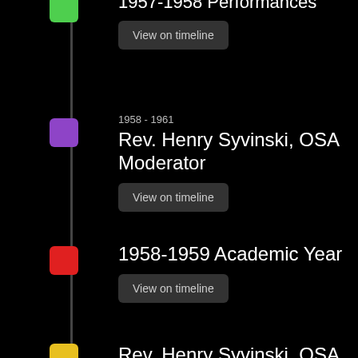[Figure (infographic): Timeline with vertical line and colored square markers for each event]
1957-1958 Performances
View on timeline
1958 - 1961
Rev. Henry Syvinski, OSA Moderator
View on timeline
1958-1959 Academic Year
View on timeline
Rev. Henry Syvinski, OSA becomes first Moderator